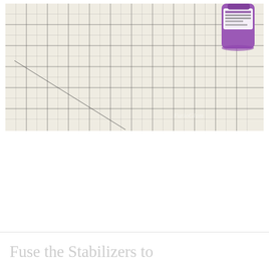[Figure (photo): A transparent quilting ruler with a grid pattern placed on a white surface, with a purple spray bottle (stabilizer product) in the upper right corner. A diagonal line is visible on the ruler. A faint watermark 'FurloGlam' or similar appears in the lower right of the image.]
Fuse the Stabilizers to